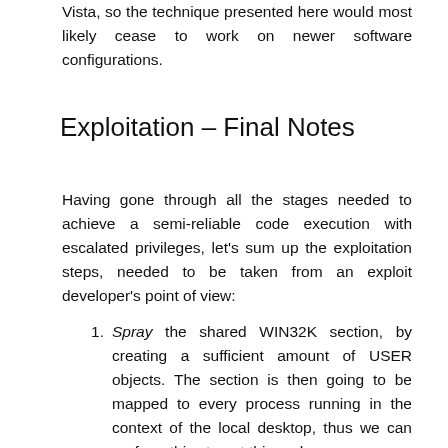Vista, so the technique presented here would most likely cease to work on newer software configurations.
Exploitation – Final Notes
Having gone through all the stages needed to achieve a semi-reliable code execution with escalated privileges, let's sum up the exploitation steps, needed to be taken from an exploit developer's point of view:
Spray the shared WIN32K section, by creating a sufficient amount of USER objects. The section is then going to be mapped to every process running in the context of the local desktop, thus we can perform this step at this early